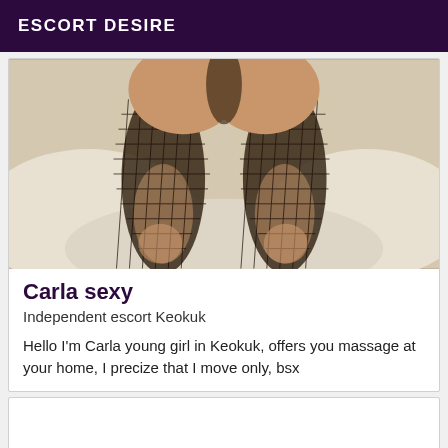ESCORT DESIRE
[Figure (photo): Photo of a person wearing fishnet stockings on a bed with white sheets, viewed from behind]
Carla sexy
Independent escort Keokuk
Hello I'm Carla young girl in Keokuk, offers you massage at your home, I precize that I move only, bsx